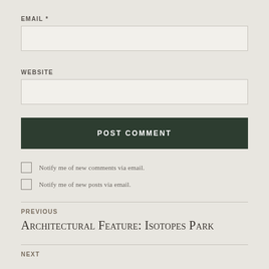EMAIL *
WEBSITE
POST COMMENT
Notify me of new comments via email.
Notify me of new posts via email.
PREVIOUS
Architectural Feature: Isotopes Park
NEXT